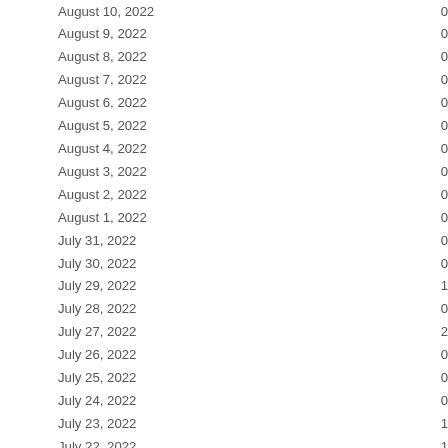| Date | Value |
| --- | --- |
| August 10, 2022 | 0 |
| August 9, 2022 | 0 |
| August 8, 2022 | 0 |
| August 7, 2022 | 0 |
| August 6, 2022 | 0 |
| August 5, 2022 | 0 |
| August 4, 2022 | 0 |
| August 3, 2022 | 0 |
| August 2, 2022 | 0 |
| August 1, 2022 | 0 |
| July 31, 2022 | 0 |
| July 30, 2022 | 0 |
| July 29, 2022 | 1 |
| July 28, 2022 | 0 |
| July 27, 2022 | 2 |
| July 26, 2022 | 0 |
| July 25, 2022 | 0 |
| July 24, 2022 | 0 |
| July 23, 2022 | 1 |
| July 22, 2022 | 1 |
| July 21, 2022 | 0 |
| July 20, 2022 | 0 |
| July 19, 2022 | 0 |